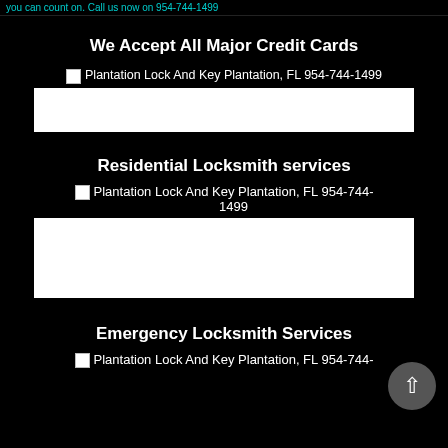you can count on. Call us now on 954-744-1499
We Accept All Major Credit Cards
[Figure (screenshot): Broken image placeholder with alt text: Plantation Lock And Key Plantation, FL 954-744-1499, followed by a white image box]
Residential Locksmith services
[Figure (screenshot): Broken image placeholder with alt text: Plantation Lock And Key Plantation, FL 954-744-1499, followed by a tall white image box]
Emergency Locksmith Services
[Figure (screenshot): Broken image placeholder with alt text: Plantation Lock And Key Plantation, FL 954-744-]